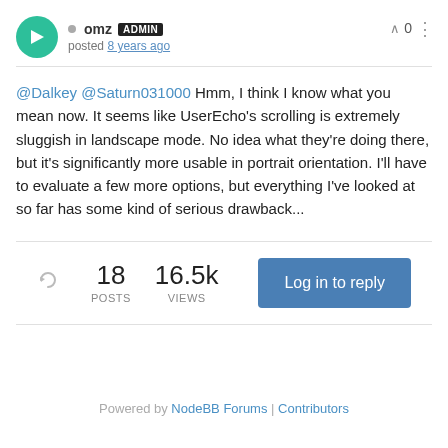omz ADMIN posted 8 years ago
@Dalkey @Saturn031000 Hmm, I think I know what you mean now. It seems like UserEcho's scrolling is extremely sluggish in landscape mode. No idea what they're doing there, but it's significantly more usable in portrait orientation. I'll have to evaluate a few more options, but everything I've looked at so far has some kind of serious drawback...
18 POSTS  16.5k VIEWS  Log in to reply
Powered by NodeBB Forums | Contributors